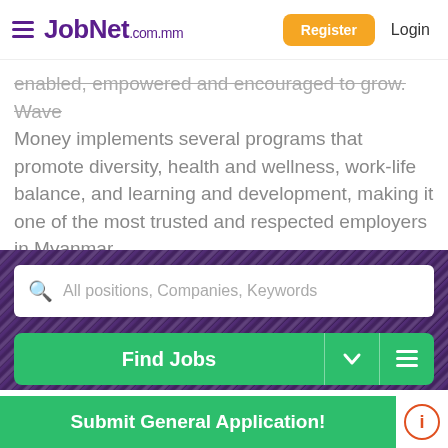JobNet.com.mm — Register | Login
enabled, empowered and encouraged to grow. Wave Money implements several programs that promote diversity, health and wellness, work-life balance, and learning and development, making it one of the most trusted and respected employers in Myanmar.
[Figure (screenshot): Search bar section with purple/dark background image. White search box with magnifying glass icon and placeholder text 'All positions, Companies, Keywords'. Below it a green 'Find Jobs' button with dropdown and list icons on the right.]
[Figure (logo): JobNet.com.mm logo in purple at bottom of page]
Submit General Application!